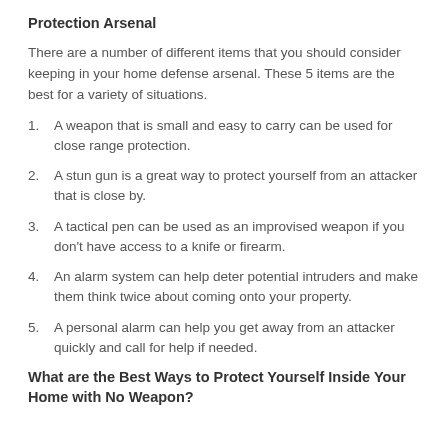Protection Arsenal
There are a number of different items that you should consider keeping in your home defense arsenal. These 5 items are the best for a variety of situations.
1. A weapon that is small and easy to carry can be used for close range protection.
2. A stun gun is a great way to protect yourself from an attacker that is close by.
3. A tactical pen can be used as an improvised weapon if you don't have access to a knife or firearm.
4. An alarm system can help deter potential intruders and make them think twice about coming onto your property.
5. A personal alarm can help you get away from an attacker quickly and call for help if needed.
What are the Best Ways to Protect Yourself Inside Your Home with No Weapon?